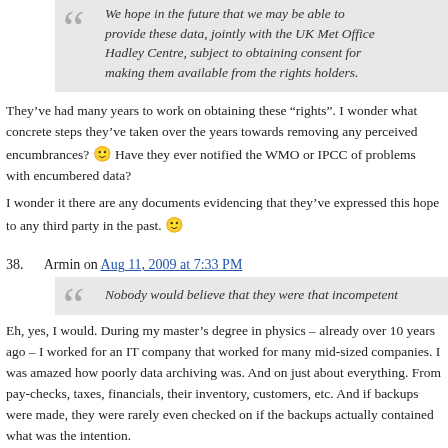We hope in the future that we may be able to provide these data, jointly with the UK Met Office Hadley Centre, subject to obtaining consent for making them available from the rights holders.
They’ve had many years to work on obtaining these “rights”. I wonder what concrete steps they’ve taken over the years towards removing any perceived encumbrances? 🙂 Have they ever notified the WMO or IPCC of problems with encumbered data?
I wonder it there are any documents evidencing that they’ve expressed this hope to any third party in the past. 🙂
38.      Armin on Aug 11, 2009 at 7:33 PM
Nobody would believe that they were that incompetent
Eh, yes, I would. During my master’s degree in physics – already over 10 years ago – I worked for an IT company that worked for many mid-sized companies. I was amazed how poorly data archiving was. And on just about everything. From pay-checks, taxes, financials, their inventory, customers, etc. And if backups were made, they were rarely even checked on if the backups actually contained what was the intention.
We should realise, that untill the Hockystick debacle nobody